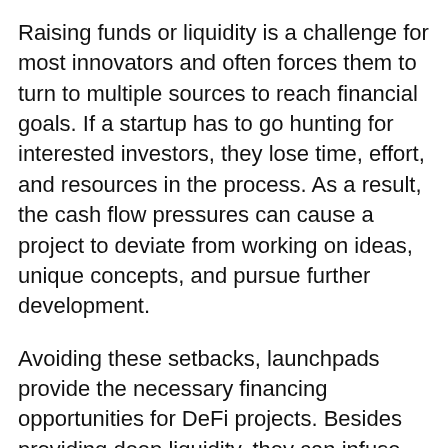Raising funds or liquidity is a challenge for most innovators and often forces them to turn to multiple sources to reach financial goals. If a startup has to go hunting for interested investors, they lose time, effort, and resources in the process. As a result, the cash flow pressures can cause a project to deviate from working on ideas, unique concepts, and pursue further development.
Avoiding these setbacks, launchpads provide the necessary financing opportunities for DeFi projects. Besides providing deep liquidity, they can infuse funds into promising crypto projects through the proper channels and at the right time.